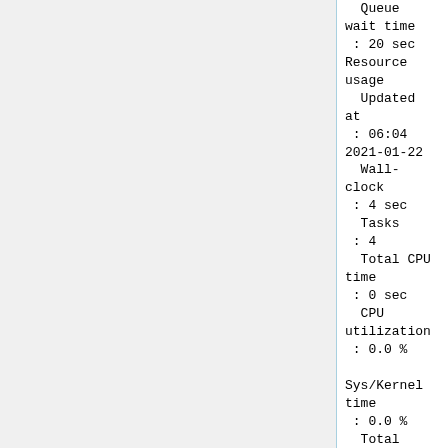Queue wait time : 20 sec Resource usage   Updated at : 06:04 2021-01-22   Wall-clock : 4 sec   Tasks : 4   Total CPU time : 0 sec   CPU utilization : 0.0 %

Sys/Kernel time : 0.0 %   Total